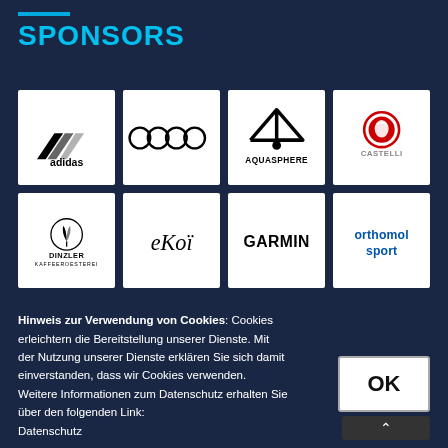SPONSORS
[Figure (logo): Grid of 8 sponsor logos: adidas, Audi, Aquasphere, Castelli, Dinzler Kaffeeroesterei, Ekoi, Garmin, Orthomol Sport]
Hinweis zur Verwendung von Cookies: Cookies erleichtern die Bereitstellung unserer Dienste. Mit der Nutzung unserer Dienste erklären Sie sich damit einverstanden, dass wir Cookies verwenden. Weitere Informationen zum Datenschutz erhalten Sie über den folgenden Link: Datenschutz